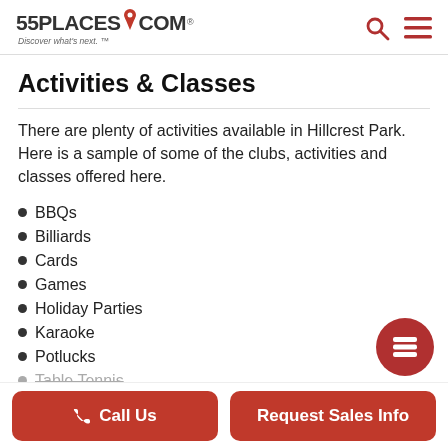55PLACES.COM Discover what's next.
Activities & Classes
There are plenty of activities available in Hillcrest Park. Here is a sample of some of the clubs, activities and classes offered here.
BBQs
Billiards
Cards
Games
Holiday Parties
Karaoke
Potlucks
Table Tennis